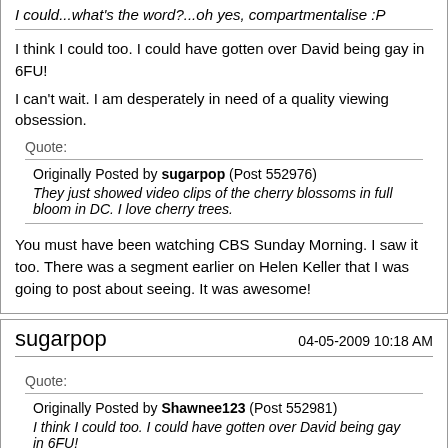I could...what's the word?...oh yes, compartmentalise :P
I think I could too. I could have gotten over David being gay in 6FU!
I can't wait. I am desperately in need of a quality viewing obsession.
Quote:
Originally Posted by sugarpop (Post 552976)
They just showed video clips of the cherry blossoms in full bloom in DC. I love cherry trees.
You must have been watching CBS Sunday Morning. I saw it too. There was a segment earlier on Helen Keller that I was going to post about seeing. It was awesome!
sugarpop    04-05-2009 10:18 AM
Quote:
Originally Posted by Shawnee123 (Post 552981)
I think I could too. I could have gotten over David being gay in 6FU!

I can't wait. I am desperately in need of a quality viewing